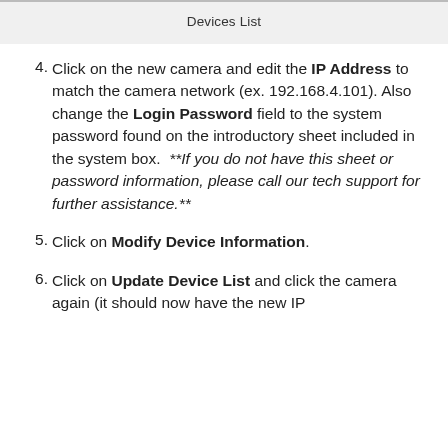Devices List
4. Click on the new camera and edit the IP Address to match the camera network (ex. 192.168.4.101). Also change the Login Password field to the system password found on the introductory sheet included in the system box. **If you do not have this sheet or password information, please call our tech support for further assistance.**
5. Click on Modify Device Information.
6. Click on Update Device List and click the camera again (it should now have the new IP